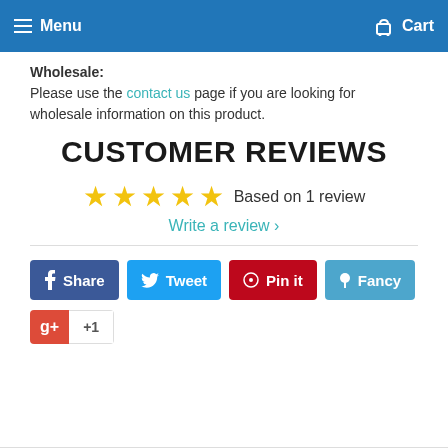Menu   Cart
Wholesale:
Please use the contact us page if you are looking for wholesale information on this product.
CUSTOMER REVIEWS
★★★★★ Based on 1 review
Write a review ›
Share  Tweet  Pin it  Fancy  +1